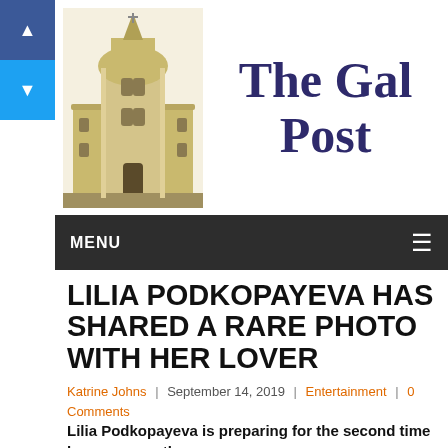[Figure (logo): The Gal Post website header with a baroque church building illustration on the left and bold serif title 'The Gal Post' on the right]
MENU
LILIA PODKOPAYEVA HAS SHARED A RARE PHOTO WITH HER LOVER
Katrine Johns | September 14, 2019 | Entertainment | 0 Comments
Lilia Podkopayeva is preparing for the second time become a mother.